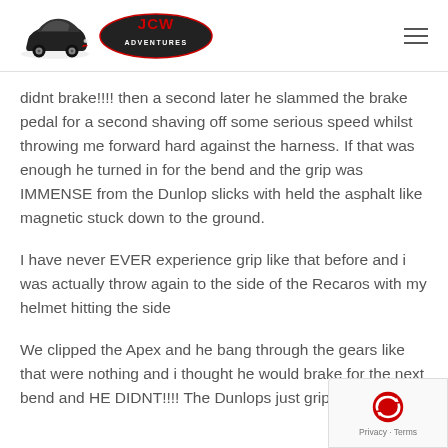JCW Adventures
didnt brake!!!! then a second later he slammed the brake pedal for a second shaving off some serious speed whilst throwing me forward hard against the harness. If that was enough he turned in for the bend and the grip was IMMENSE from the Dunlop slicks with held the asphalt like magnetic stuck down to the ground.
I have never EVER experience grip like that before and i was actually throw again to the side of the Recaros with my helmet hitting the side
We clipped the Apex and he bang through the gears like that were nothing and i thought he would brake for the next bend and HE DIDNT!!!! The Dunlops just gripped